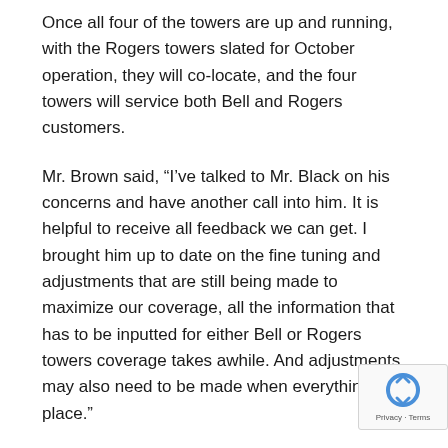Once all four of the towers are up and running, with the Rogers towers slated for October operation, they will co-locate, and the four towers will service both Bell and Rogers customers.
Mr. Brown said, “I’ve talked to Mr. Black on his concerns and have another call into him. It is helpful to receive all feedback we can get. I brought him up to date on the fine tuning and adjustments that are still being made to maximize our coverage, all the information that has to be inputted for either Bell or Rogers towers coverage takes awhile. And adjustments may also need to be made when everything is in place.”
“The work on all the towers is not done until a final drive through and signal strength are monitored,” said Mr. Brown.